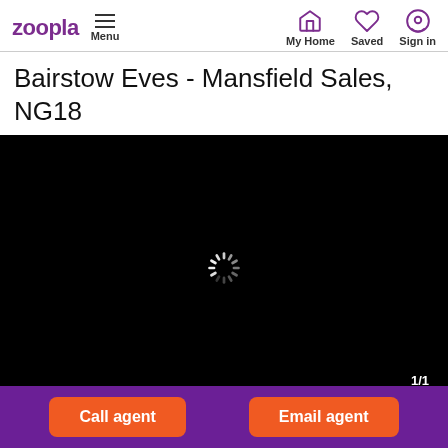Zoopla  Menu  My Home  Saved  Sign in
Bairstow Eves - Mansfield Sales, NG18
[Figure (photo): Black loading screen with spinning loader animation and '1/1' counter in bottom right corner]
Call agent  Email agent